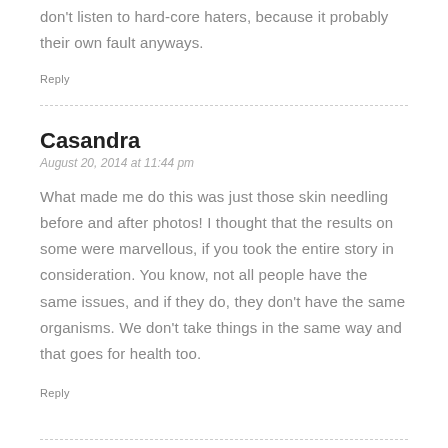don't listen to hard-core haters, because it probably their own fault anyways.
Reply
Casandra
August 20, 2014 at 11:44 pm
What made me do this was just those skin needling before and after photos! I thought that the results on some were marvellous, if you took the entire story in consideration. You know, not all people have the same issues, and if they do, they don't have the same organisms. We don't take things in the same way and that goes for health too.
Reply